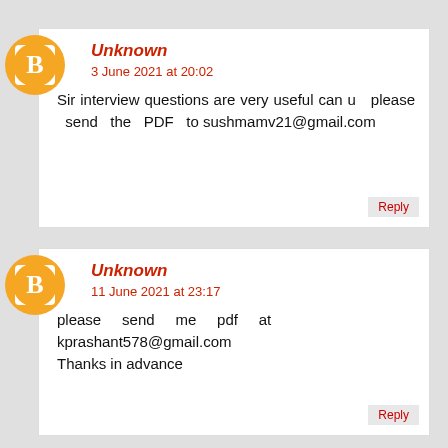[Figure (illustration): Blogger avatar icon - orange circle with white B symbol]
Unknown
3 June 2021 at 20:02
Sir interview questions are very useful can u please send the PDF to sushmamv21@gmail.com
Reply
[Figure (illustration): Blogger avatar icon - orange circle with white B symbol]
Unknown
11 June 2021 at 23:17
please send me pdf at kprashant578@gmail.com
Thanks in advance
Reply